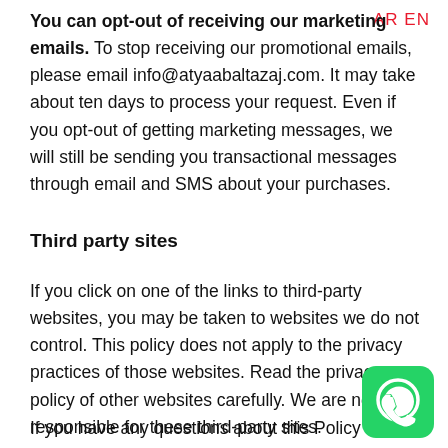You can opt-out of receiving our marketing emails. To stop receiving our promotional emails, please email info@atyaabaltazaj.com. It may take about ten days to process your request. Even if you opt-out of getting marketing messages, we will still be sending you transactional messages through email and SMS about your purchases.
Third party sites
If you click on one of the links to third-party websites, you may be taken to websites we do not control. This policy does not apply to the privacy practices of those websites. Read the privacy policy of other websites carefully. We are not responsible for these third-party sites.
If you have any questions about this Policy or other